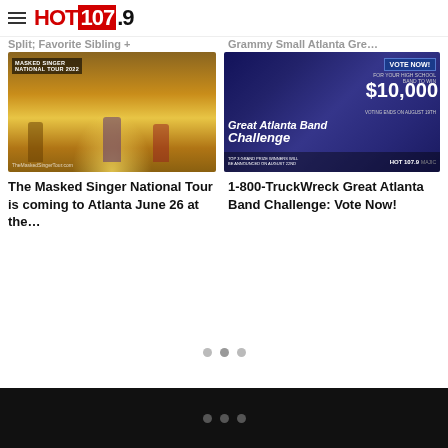HOT 107.9
Split; Favorite Sibling + Fatherhood Tic...
Grammy Small Atlanta Great Bag Policy
[Figure (photo): The Masked Singer National Tour 2022 promotional image showing performers on stage with golden lighting]
The Masked Singer National Tour is coming to Atlanta June 26 at the…
[Figure (photo): Great Atlanta Band Challenge promotional graphic with blue/purple background showing $10,000 prize and VOTE NOW button]
1-800-TruckWreck Great Atlanta Band Challenge: Vote Now!